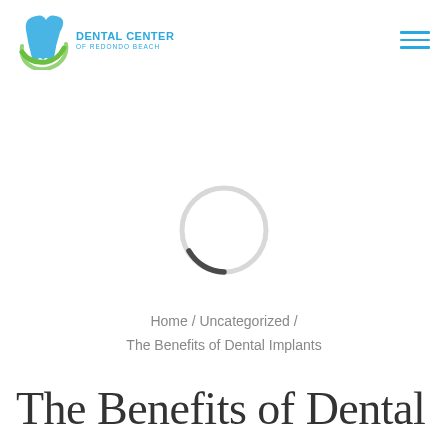[Figure (logo): Dental Center of Redondo Beach logo with stylized blue and green tooth icon and blue text]
[Figure (other): Browser loading spinner — a circle, mostly light gray with a dark arc segment at bottom-left, indicating a page is loading]
Home / Uncategorized / The Benefits of Dental Implants
The Benefits of Dental